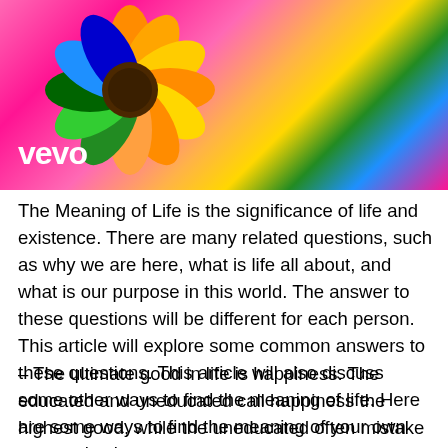[Figure (photo): Colorful photo with vibrant pink background and a flower (sunflower-like with orange and green petals) visible in upper portion. A white 'vevo' logo is overlaid in the lower left of the image.]
The Meaning of Life is the significance of life and existence. There are many related questions, such as why we are here, what is life all about, and what is our purpose in this world. The answer to these questions will be different for each person. This article will explore some common answers to these questions. This article will also discuss some other ways to find the meaning of life. Here are some ways to find the meaning of your own personal existence.
– The ultimate good in life is happiness. The educated and uneducated call happiness the highest good, while the uneducated often mistake it for success or a good life. Antisthenes explains that happiness is dependent